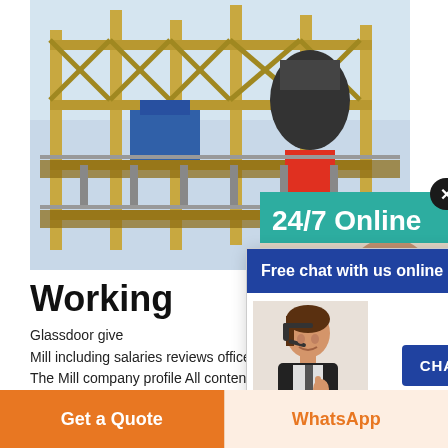[Figure (photo): Industrial yellow steel structure / machinery platform, large crane and processing equipment visible, outdoor industrial site photo]
Working
Glassdoor gives you an inside look at what it's like to work at The Mill including salaries reviews office photos and more. This is the The Mill company profile All content is posted anonymously by employees working at The Mill .
[Figure (screenshot): Chat popup overlay with blue header 'Free chat with us online', woman with headset, CHAT NOW button]
[Figure (screenshot): Teal panel on right side showing '24/7 Online', agent photo, 'Have any requests, click here.' text and Quotation button]
Get Price
Get a Quote
WhatsApp